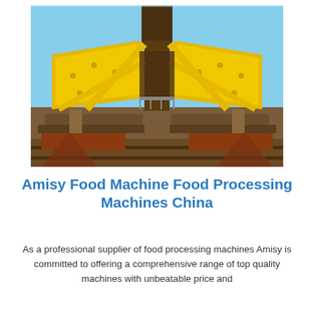[Figure (photo): Large yellow industrial processing machine with brown steel frame structure, photographed outdoors against a blue sky.]
Amisy Food Machine Food Processing Machines China
As a professional supplier of food processing machines Amisy is committed to offering a comprehensive range of top quality machines with unbeatable price and